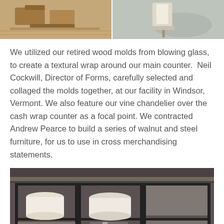[Figure (photo): Two side-by-side photos at top: left shows wooden molds/furniture on a wood floor, right shows a lamp or light fixture on a textured rug surface.]
We utilized our retired wood molds from blowing glass, to create a textural wrap around our main counter.  Neil Cockwill, Director of Forms, carefully selected and collaged the molds together, at our facility in Windsor, Vermont. We also feature our vine chandelier over the cash wrap counter as a focal point. We contracted Andrew Pearce to build a series of walnut and steel furniture, for us to use in cross merchandising statements.
[Figure (photo): A photo of a retail display area with black metal shelving units and white lamp shades displayed inside, set against a dark gray wall with ceiling lighting.]